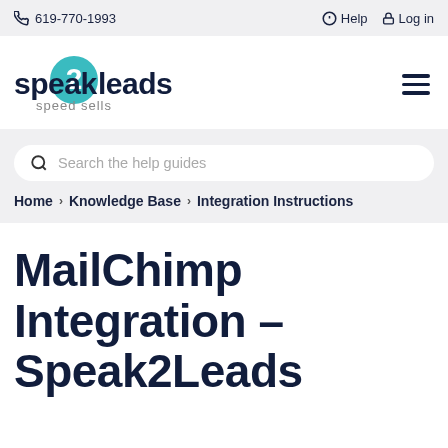📞 619-770-1993   ❓ Help  🔒 Log in
[Figure (logo): Speak2Leads logo with teal circle containing '2', text 'speak2leads' and tagline 'speed sells']
Search the help guides
Home > Knowledge Base > Integration Instructions
MailChimp Integration – Speak2Leads